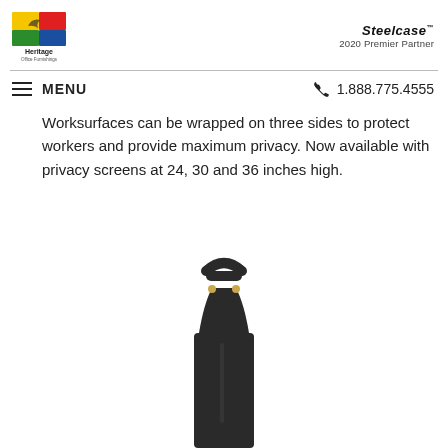[Figure (logo): Heritage Office Furnishings logo — colorful square with yellow, red, blue, green quadrants and a bird silhouette, text 'Heritage Office Furnishings' below]
[Figure (logo): Steelcase 2020 Premier Partner logo — italic bold 'Steelcase' with trademark symbol and '2020 Premier Partner' below]
MENU
1.888.775.4555
Worksurfaces can be wrapped on three sides to protect workers and provide maximum privacy. Now available with privacy screens at 24, 30 and 36 inches high.
[Figure (photo): Close-up photo of a dark charcoal/black office partition or privacy screen pole top with a D-ring handle, showing the top portion of a tall panel post]